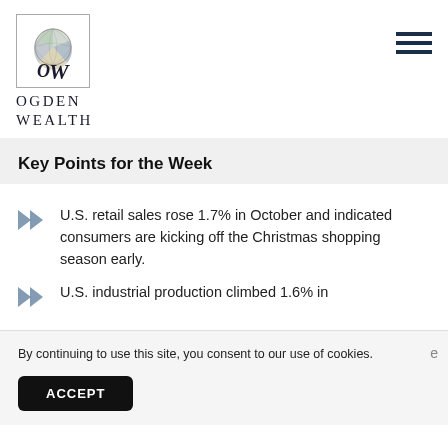[Figure (logo): Ogden Wealth logo: circular globe icon with OW stylized lettering inside a square border, followed by text OGDEN WEALTH below]
Key Points for the Week
U.S. retail sales rose 1.7% in October and indicated consumers are kicking off the Christmas shopping season early.
U.S. industrial production climbed 1.6% in
By continuing to use this site, you consent to our use of cookies.